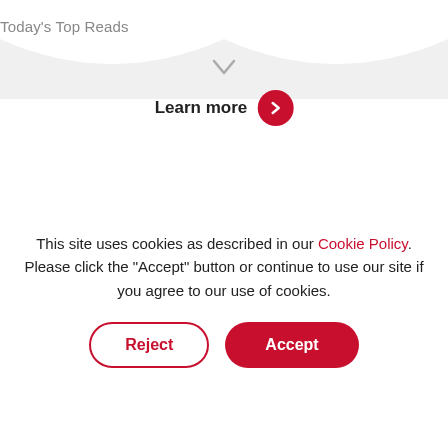Today's Top Reads
[Figure (illustration): A wave/scallop divider SVG shape with a downward chevron arrow in the center, separating the top reads section from the learn more button.]
Learn more
Caring & Giving
Johnson & Johnson
MomConnect
Parenting
Mothers
Mother's Day
Digital Innovation
This site uses cookies as described in our Cookie Policy. Please click the "Accept" button or continue to use our site if you agree to our use of cookies.
Reject
Accept